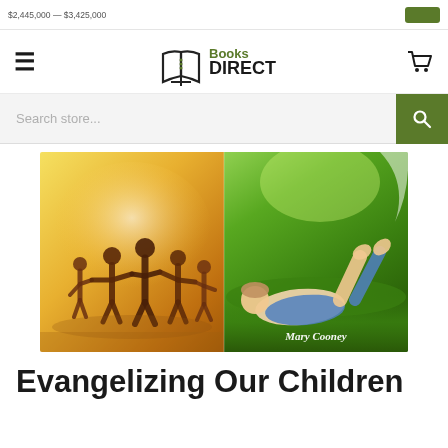$2,445,000 — $3,425,000 [button]
[Figure (logo): Books Direct logo with stylized open book icon and text 'Books DIRECT']
Search store...
[Figure (photo): Book cover for 'Evangelizing Our Children' by Mary Cooney. Left half shows silhouettes of children holding hands with arms raised against a warm yellow/golden sunset background. Right half shows a child lying on green grass with feet up, author name 'Mary Cooney' in white italic text at bottom.]
Evangelizing Our Children